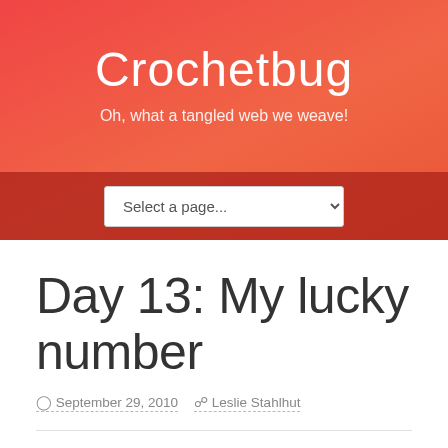Crochetbug
Oh, what a tangled web we weave!
Day 13: My lucky number
September 29, 2010  Leslie Stahlhut